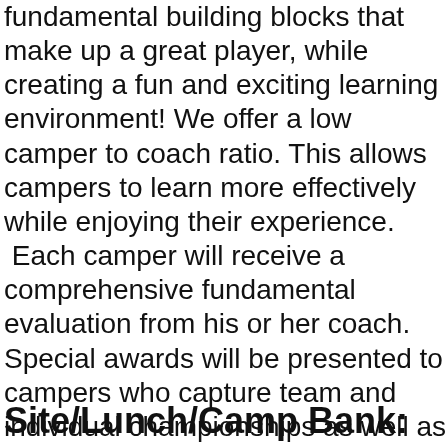fundamental building blocks that make up a great player, while creating a fun and exciting learning environment! We offer a low camper to coach ratio. This allows campers to learn more effectively while enjoying their experience. Each camper will receive a comprehensive fundamental evaluation from his or her coach. Special awards will be presented to campers who capture team and individual championships as well as selected campers who demonstrate outstanding leadership ability and attitude.

Visit our Facebook page at Coach Glick Camps to see pictures of our camp in action.
Site/Lunch/Camp Bank: